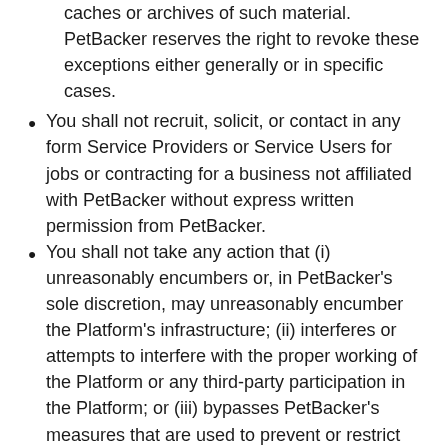caches or archives of such material. PetBacker reserves the right to revoke these exceptions either generally or in specific cases.
You shall not recruit, solicit, or contact in any form Service Providers or Service Users for jobs or contracting for a business not affiliated with PetBacker without express written permission from PetBacker.
You shall not take any action that (i) unreasonably encumbers or, in PetBacker's sole discretion, may unreasonably encumber the Platform's infrastructure; (ii) interferes or attempts to interfere with the proper working of the Platform or any third-party participation in the Platform; or (iii) bypasses PetBacker's measures that are used to prevent or restrict access to the Platform.
You agree not to collect or harvest any personally identifiable data, including without limitation, names or other Account information, from the